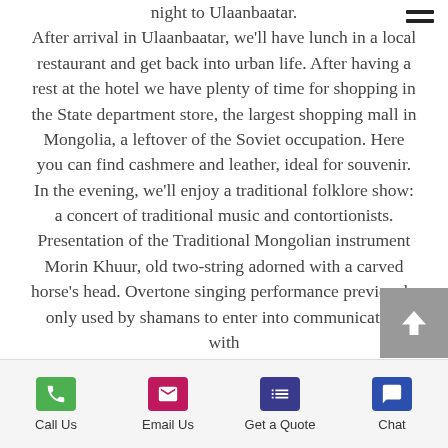night to Ulaanbaatar. After arrival in Ulaanbaatar, we'll have lunch in a local restaurant and get back into urban life. After having a rest at the hotel we have plenty of time for shopping in the State department store, the largest shopping mall in Mongolia, a leftover of the Soviet occupation. Here you can find cashmere and leather, ideal for souvenir. In the evening, we'll enjoy a traditional folklore show: a concert of traditional music and contortionists. Presentation of the Traditional Mongolian instrument Morin Khuur, old two-string adorned with a carved horse's head. Overtone singing performance previously only used by shamans to enter into communication with
[Figure (other): Scroll-to-top button (grey square with upward chevron arrow)]
Call Us | Email Us | Get a Quote | Chat